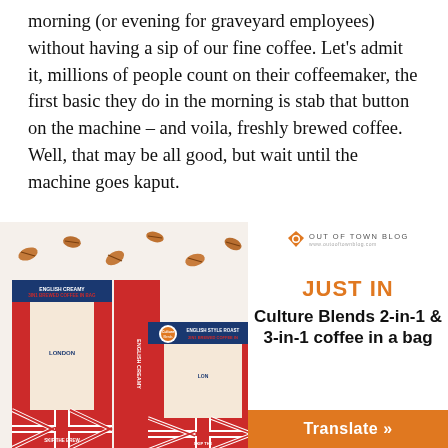morning (or evening for graveyard employees) without having a sip of our fine coffee. Let's admit it, millions of people count on their coffeemaker, the first basic they do in the morning is stab that button on the machine – and voila, freshly brewed coffee. Well, that may be all good, but wait until the machine goes kaput.
[Figure (photo): Photo of Culture Blends coffee product packages (English Creamy 3in1 Brewed Coffee in Bag and English Style Roast 2in1 Brewed Coffee in Bag) with coffee beans scattered above, Out of Town Blog logo watermark, and sidebar text 'JUST IN Culture Blends 2-in-1 & 3-in-1 coffee in a bag' with an orange Translate button.]